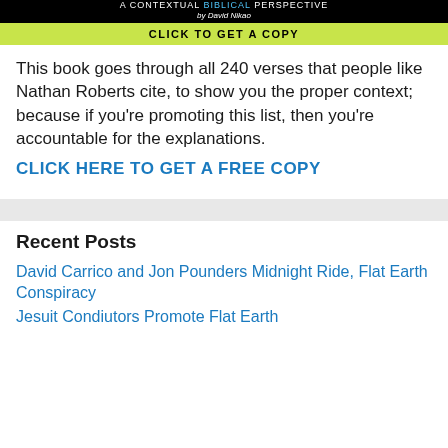[Figure (other): Book advertisement banner with black background showing 'A CONTEXTUAL BIBLICAL PERSPECTIVE by David Nikao' and a green 'CLICK TO GET A COPY' button]
This book goes through all 240 verses that people like Nathan Roberts cite, to show you the proper context; because if you're promoting this list, then you're accountable for the explanations.
CLICK HERE TO GET A FREE COPY
Recent Posts
David Carrico and Jon Pounders Midnight Ride, Flat Earth Conspiracy
Jesuit Condiutors Promote Flat Earth